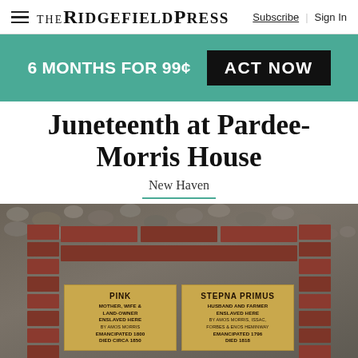THE RIDGEFIELD PRESS | Subscribe | Sign In
6 MONTHS FOR 99¢  ACT NOW
Juneteenth at Pardee-Morris House
New Haven
[Figure (photo): Photo of two bronze memorial plaques mounted on a brick structure surrounded by decorative stones. Left plaque reads: PINK, MOTHER, WIFE & LAND-OWNER, ENSLAVED HERE, BY AMOS MORRIS, EMANCIPATED 1800, DIED CIRCA 1850. Right plaque reads: STEPNA PRIMUS, HUSBAND AND FARMER, ENSLAVED HERE, BY AMOS MORRIS, ISSAC, FORBES & ENOS HEMINWAY, EMANCIPATED 1796, DIED 1818.]